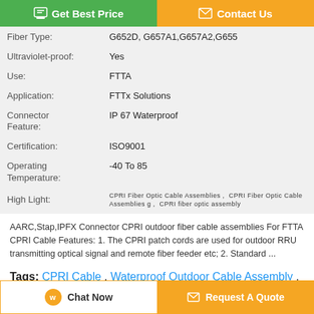[Figure (screenshot): Top navigation buttons: green 'Get Best Price' button and orange 'Contact Us' button]
| Property | Value |
| --- | --- |
| Fiber Type: | G652D, G657A1,G657A2,G655 |
| Ultraviolet-proof: | Yes |
| Use: | FTTA |
| Application: | FTTx Solutions |
| Connector Feature: | IP 67 Waterproof |
| Certification: | ISO9001 |
| Operating Temperature: | -40 To 85 |
| High Light: | CPRI Fiber Optic Cable Assemblies , CPRI Fiber Optic Cable Assemblies g , CPRI fiber optic assembly |
AARC,Stap,IPFX Connector CPRI outdoor fiber cable assemblies For FTTA CPRI Cable Features: 1. The CPRI patch cords are used for outdoor RRU transmitting optical signal and remote fiber feeder etc; 2. Standard ...
Tags: CPRI Cable , Waterproof Outdoor Cable Assembly , Outdoor Cable Assembly
[Figure (screenshot): Bottom buttons: 'Chat Now' and 'Request A Quote']